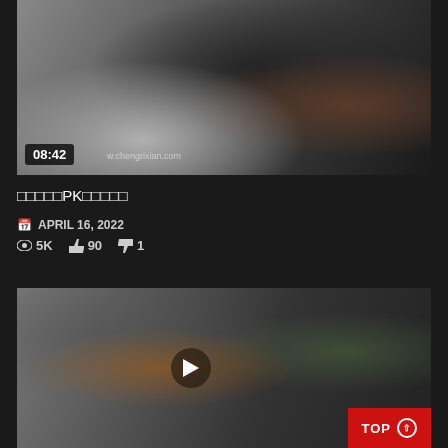[Figure (screenshot): Video thumbnail showing people, duration badge 08:42, watermark text]
□□□□□PK□□□□□
APRIL 16, 2022  5K  90  1
[Figure (screenshot): Second video thumbnail showing people in a room with a play button overlay]
TOP